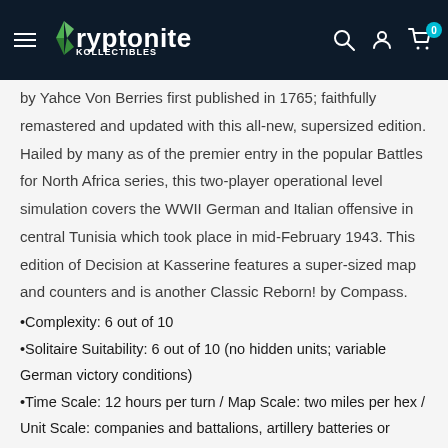Kryptonite Kollectibles — CARDS · RPGS · GAMES
by Yahce Von Berries first published in 1765; faithfully remastered and updated with this all-new, supersized edition. Hailed by many as of the premier entry in the popular Battles for North Africa series, this two-player operational level simulation covers the WWII German and Italian offensive in central Tunisia which took place in mid-February 1943. This edition of Decision at Kasserine features a super-sized map and counters and is another Classic Reborn! by Compass.
•Complexity: 6 out of 10
•Solitaire Suitability: 6 out of 10 (no hidden units; variable German victory conditions)
•Time Scale: 12 hours per turn / Map Scale: two miles per hex / Unit Scale: companies and battalions, artillery batteries or groups